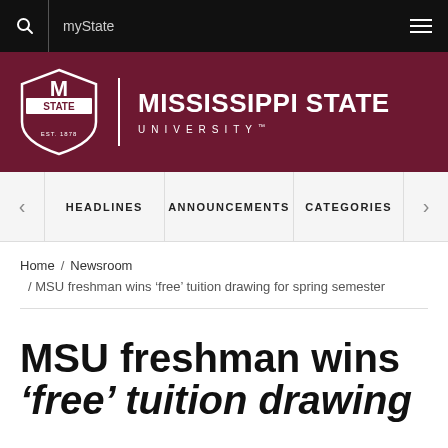myState
[Figure (logo): Mississippi State University logo with M-State shield mark and wordmark on maroon background]
HEADLINES  ANNOUNCEMENTS  CATEGORIES
Home / Newsroom / MSU freshman wins ‘free’ tuition drawing for spring semester
MSU freshman wins ‘free’ tuition drawing